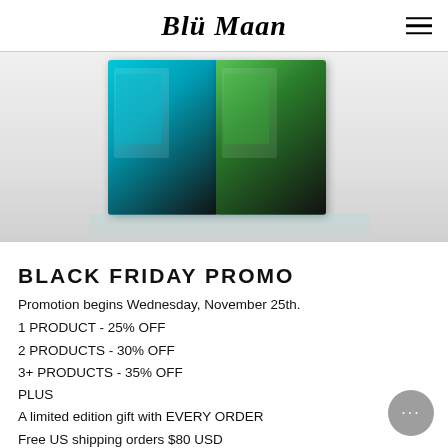BluMaan
[Figure (photo): Two graphic product boxes — one teal/cyan with a character illustration and one green/dark with a skull character illustration — photographed on a light reflective surface.]
BLACK FRIDAY PROMO
Promotion begins Wednesday, November 25th.
1 PRODUCT - 25% OFF
2 PRODUCTS - 30% OFF
3+ PRODUCTS - 35% OFF
PLUS
A limited edition gift with EVERY ORDER
Free US shipping orders $80 USD